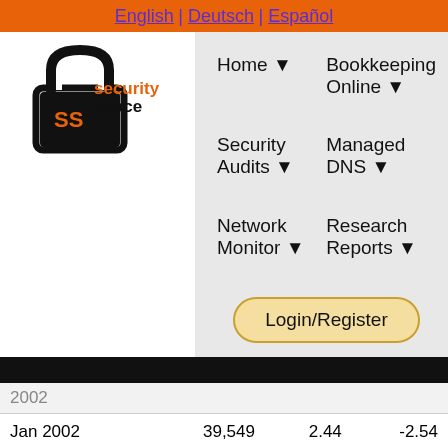English | Deutsch | Español
[Figure (logo): Security Space logo with padlock icon and orange/black text]
Home ▼
Bookkeeping Online ▼
Security Audits ▼
Managed DNS ▼
Network Monitor ▼
Research Reports ▼
Login/Register
| 2002 |  |  |  |
| Jan 2002 | 39,549 | 2.44 | -2.54 |
| Dec 2001 | 38,845 | 2.51 | -2.58 |
| Nov 2001 | 39,062 | 2.57 | -2.75 |